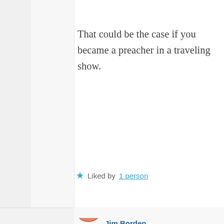That could be the case if you became a preacher in a traveling show.
★ Liked by 1 person
Jim Borden
August 11, 2020 at 2:12 pm
I think I'd prefer going the Solitary Man route…
★ Liked by 1 person